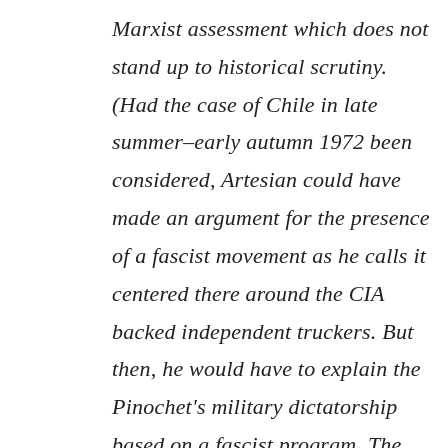Marxist assessment which does not stand up to historical scrutiny. (Had the case of Chile in late summer–early autumn 1972 been considered, Artesian could have made an argument for the presence of a fascist movement as he calls it centered there around the CIA backed independent truckers. But then, he would have to explain the Pinochet's military dictatorship based on a fascist program. The point is that his discussion, though better argued, is like